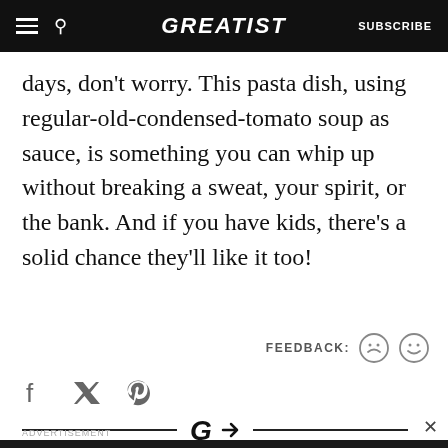GREATIST  SUBSCRIBE
days, don't worry. This pasta dish, using regular-old-condensed-tomato soup as sauce, is something you can whip up without breaking a sweat, your spirit, or the bank. And if you have kids, there's a solid chance they'll like it too!
FEEDBACK:
Social share icons: Facebook, Twitter, Pinterest
[Figure (logo): Greatist logo mark G with arrow]
ADVERTISEMENT
[Figure (screenshot): Advertisement banner: Let's be friends with (health) benefits. Follow GREATIST on Instagram. FOLLOW US button.]